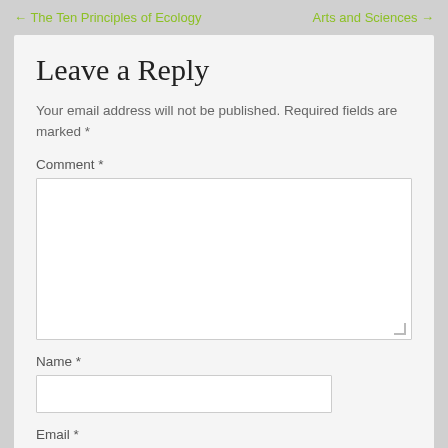← The Ten Principles of Ecology    Arts and Sciences →
Leave a Reply
Your email address will not be published. Required fields are marked *
Comment *
Name *
Email *